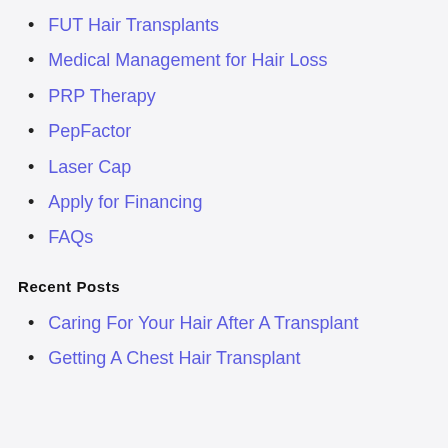FUT Hair Transplants
Medical Management for Hair Loss
PRP Therapy
PepFactor
Laser Cap
Apply for Financing
FAQs
Recent Posts
Caring For Your Hair After A Transplant
Getting A Chest Hair Transplant